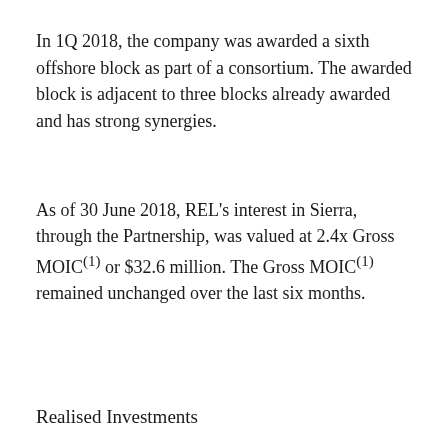In 1Q 2018, the company was awarded a sixth offshore block as part of a consortium. The awarded block is adjacent to three blocks already awarded and has strong synergies.
As of 30 June 2018, REL's interest in Sierra, through the Partnership, was valued at 2.4x Gross MOIC(1) or $32.6 million. The Gross MOIC(1) remained unchanged over the last six months.
Realised Investments
Rock Oil
Rock Oil was formed in March 2014 with the